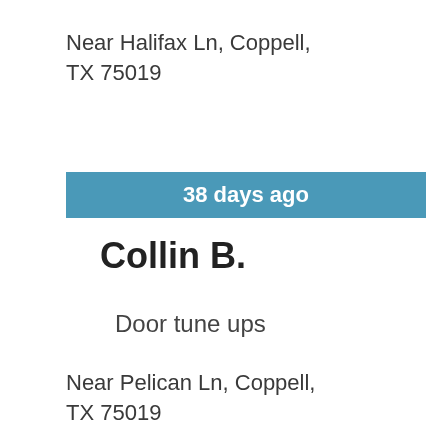Near Halifax Ln, Coppell, TX 75019
38 days ago
Collin B.
Door tune ups
Near Pelican Ln, Coppell, TX 75019